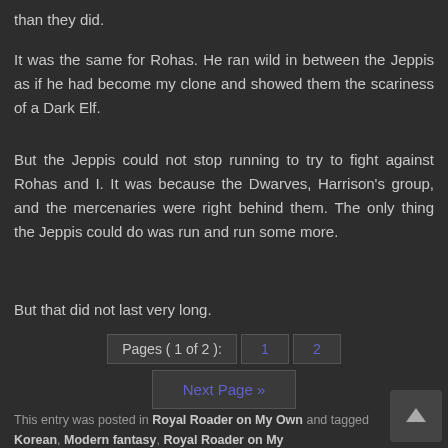than they did.
It was the same for Rohas. He ran wild in between the Jeppis as if he had become my clone and showed them the scariness of a Dark Elf.
But the Jeppis could not stop running to try to fight against Rohas and I. It was because the Dwarves, Harrison's group, and the mercenaries were right behind them. The only thing the Jeppis could do was run and run some more.
But that did not last very long.
Pages ( 1 of 2 ):  1  2  Next Page »
This entry was posted in Royal Roader on My Own and tagged Korean, Modern fantasy, Royal Roader on My Own Translated Novel, Video Games and is filed under All.